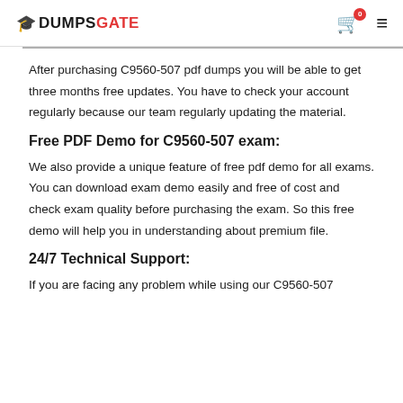DUMPSGATE
After purchasing C9560-507 pdf dumps you will be able to get three months free updates. You have to check your account regularly because our team regularly updating the material.
Free PDF Demo for C9560-507 exam:
We also provide a unique feature of free pdf demo for all exams. You can download exam demo easily and free of cost and check exam quality before purchasing the exam. So this free demo will help you in understanding about premium file.
24/7 Technical Support:
If you are facing any problem while using our C9560-507